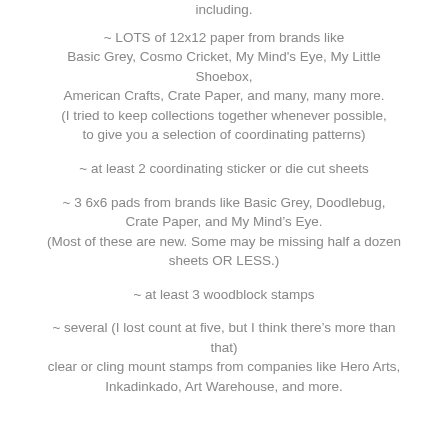including.
~ LOTS of 12x12 paper from brands like Basic Grey, Cosmo Cricket, My Mind's Eye, My Little Shoebox, American Crafts, Crate Paper, and many, many more. (I tried to keep collections together whenever possible, to give you a selection of coordinating patterns)
~ at least 2 coordinating sticker or die cut sheets
~ 3 6x6 pads from brands like Basic Grey, Doodlebug, Crate Paper, and My Mind's Eye. (Most of these are new. Some may be missing half a dozen sheets OR LESS.)
~ at least 3 woodblock stamps
~ several (I lost count at five, but I think there's more than that) clear or cling mount stamps from companies like Hero Arts, Inkadinkado, Art Warehouse, and more.